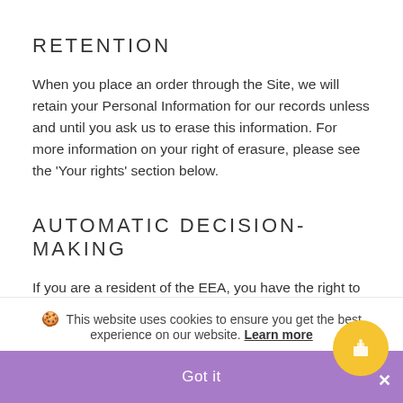RETENTION
When you place an order through the Site, we will retain your Personal Information for our records unless and until you ask us to erase this information. For more information on your right of erasure, please see the ‘Your rights’ section below.
AUTOMATIC DECISION-MAKING
If you are a resident of the EEA, you have the right to object to processing based solely on automated decision-making (which includes profiling), when that decision-making has a legal effect
🍪 This website uses cookies to ensure you get the best experience on our website. Learn more
Got it